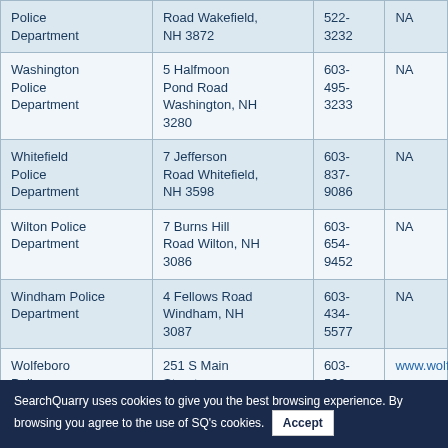| Name | Address | Phone | Website |
| --- | --- | --- | --- |
| Police Department | Road Wakefield, NH 3872 | 522-3232 | NA |
| Washington Police Department | 5 Halfmoon Pond Road Washington, NH 3280 | 603-495-3233 | NA |
| Whitefield Police Department | 7 Jefferson Road Whitefield, NH 3598 | 603-837-9086 | NA |
| Wilton Police Department | 7 Burns Hill Road Wilton, NH 3086 | 603-654-9452 | NA |
| Windham Police Department | 4 Fellows Road Windham, NH 3087 | 603-434-5577 | NA |
| Wolfeboro Police Department | 251 S Main Street Wolfeboro, NH 3894 | 603-569-1444 | www.wolfeboronh.us |
SearchQuarry uses cookies to give you the best browsing experience. By browsing you agree to the use of SQ's cookies. Accept